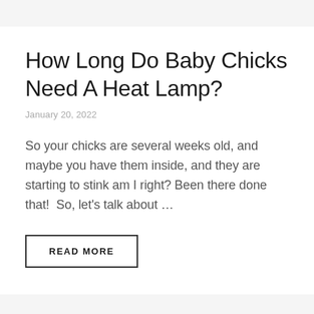How Long Do Baby Chicks Need A Heat Lamp?
January 20, 2022
So your chicks are several weeks old, and maybe you have them inside, and they are starting to stink am I right? Been there done that!  So, let's talk about …
READ MORE